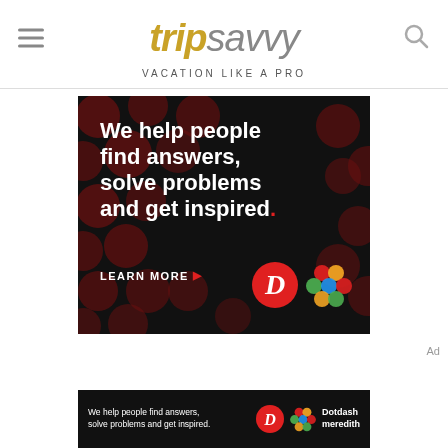tripsavvy VACATION LIKE A PRO
[Figure (screenshot): Dotdash Meredith advertisement banner on black background with dark red dot pattern. Text reads 'We help people find answers, solve problems and get inspired.' with 'LEARN MORE' button and Dotdash D logo and multicolor knot logo.]
[Figure (screenshot): Bottom sticky ad bar on black background reading 'We help people find answers, solve problems and get inspired.' with Dotdash D logo, multicolor knot logo, and 'Dotdash meredith' text in white.]